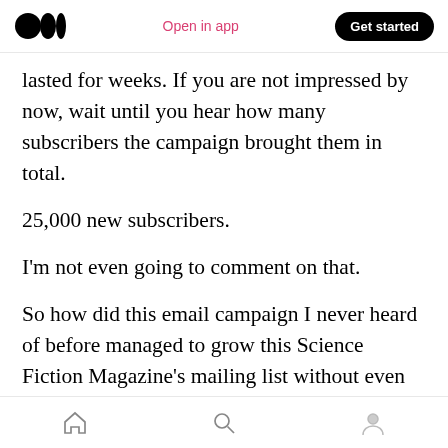Medium logo | Open in app | Get started
lasted for weeks. If you are not impressed by now, wait until you hear how many subscribers the campaign brought them in total.
25,000 new subscribers.
I'm not even going to comment on that.
So how did this email campaign I never heard of before managed to grow this Science Fiction Magazine's mailing list without even touching Social Media? My sister-in-law is a barista; by the way, she is not even close to being the campaign's
Home | Search | Profile